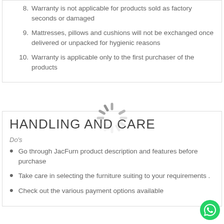8. Warranty is not applicable for products sold as factory seconds or damaged
9. Mattresses, pillows and cushions will not be exchanged once delivered or unpacked for hygienic reasons
10. Warranty is applicable only to the first purchaser of the products
[Figure (other): Loading spinner graphic]
HANDLING AND CARE
Do's
Go through JacFurn product description and features before purchase
Take care in selecting the furniture suiting to your requirements .
Check out the various payment options available